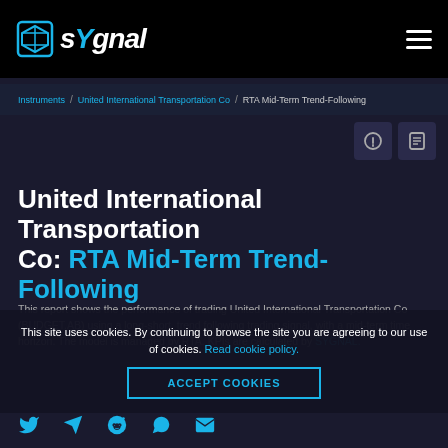sYgnal
Instruments / United International Transportation Co / RTA Mid-Term Trend-Following
United International Transportation Co: RTA Mid-Term Trend-Following
This report shows the performance of trading United International Transportation Co (BUDGET.AB) using a long-short, trend following trading signal, with a mid-term time horizon. The model is managed by RTA. KPIs are calculated by SYGNAL.
This site uses cookies. By continuing to browse the site you are agreeing to our use of cookies. Read cookie policy.
ACCEPT COOKIES